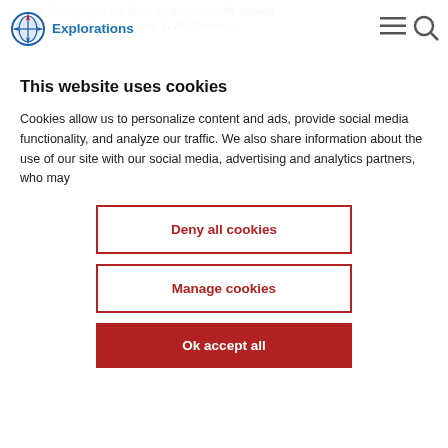Explorations
Study & Protection of the Monk Seal, Greece, Mr Spyros ... Cyclades Life Project Leader, WWF Greece ...
This website uses cookies
Cookies allow us to personalize content and ads, provide social media functionality, and analyze our traffic. We also share information about the use of our site with our social media, advertising and analytics partners, who may
Deny all cookies
Manage cookies
Ok accept all